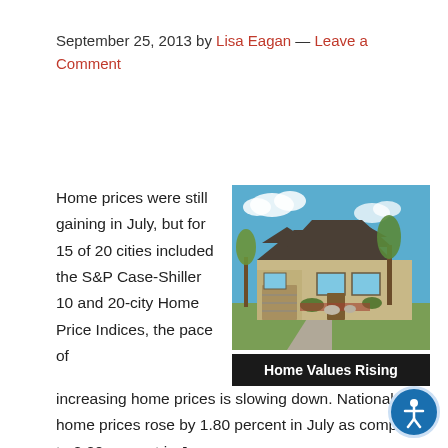September 25, 2013 by Lisa Eagan — Leave a Comment
[Figure (photo): Photo of a large two-story suburban home with dark roof, beige siding, attached garage, trees, landscaping with red mulch, and a caption bar reading 'Home Values Rising']
Home prices were still gaining in July, but for 15 of 20 cities included the S&P Case-Shiller 10 and 20-city Home Price Indices, the pace of increasing home prices is slowing down. National home prices rose by 1.80 percent in July as compared to 2.20 percent in June.